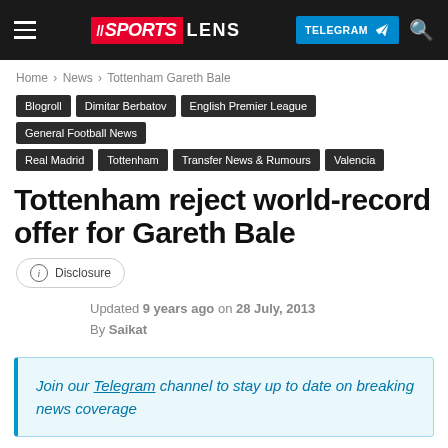Sports Lens — TELEGRAM
Home › News › Tottenham Gareth Bale
Blogroll
Dimitar Berbatov
English Premier League
General Football News
Real Madrid
Tottenham
Transfer News & Rumours
Valencia
Tottenham reject world-record offer for Gareth Bale
Disclosure
Updated 9 years ago on 28 July, 2013
By Saikat
Join our Telegram channel to stay up to date on breaking news coverage